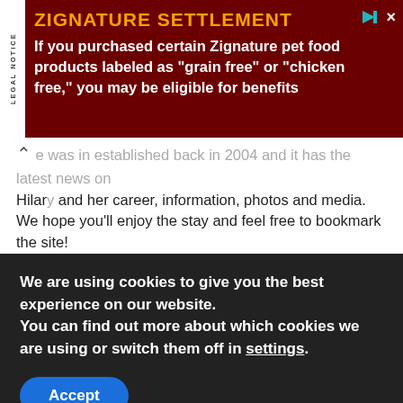[Figure (infographic): Legal notice advertisement banner for Zignature Settlement on dark red background. Title: ZIGNATURE SETTLEMENT. Body: If you purchased certain Zignature pet food products labeled as "grain free" or "chicken free," you may be eligible for benefits]
e was in established back in 2004 and it has the latest news on Hilary and her career, information, photos and media. We hope you'll enjoy the stay and feel free to bookmark the site!
We are not claiming copyright for the content or images on the site, all pictures copyrighted to their respective owners.
[Figure (illustration): Hilary Swank Fan banner image with dark photo of woman and text HILARY SWANK FAN]
Free Fansite Hosting - Privacy Policy - DMCA
We are using cookies to give you the best experience on our website.
You can find out more about which cookies we are using or switch them off in settings.
Accept